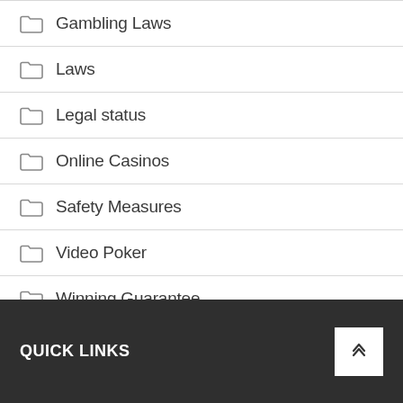Gambling Laws
Laws
Legal status
Online Casinos
Safety Measures
Video Poker
Winning Guarantee
QUICK LINKS